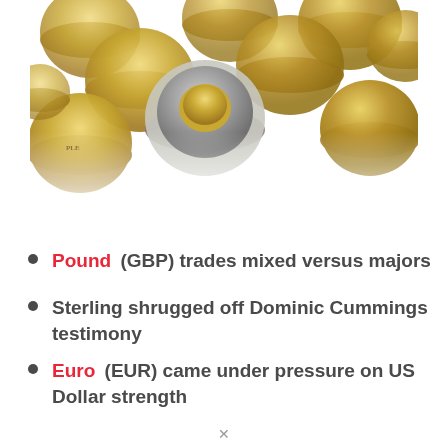[Figure (photo): Pile of British pound coins (GBP) scattered on a white surface, showing gold and silver-colored coins from above]
Pound (GBP) trades mixed versus majors
Sterling shrugged off Dominic Cummings testimony
Euro (EUR) came under pressure on US Dollar strength